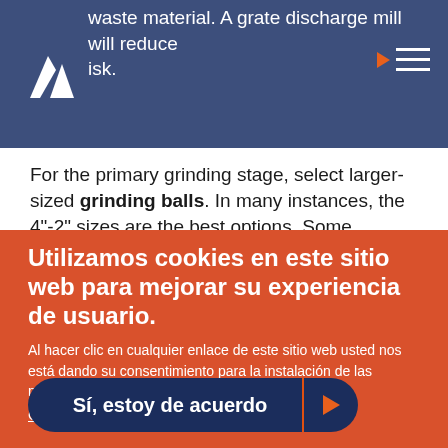waste material. A grate discharge mill will reduce risk.
For the primary grinding stage, select larger-sized grinding balls. In many instances, the 4"-2" sizes are the best options. Some
Utilizamos cookies en este sitio web para mejorar su experiencia de usuario.
Al hacer clic en cualquier enlace de este sitio web usted nos está dando su consentimiento para la instalación de las mismas en su navegador.
Give me more info
Sí, estoy de acuerdo